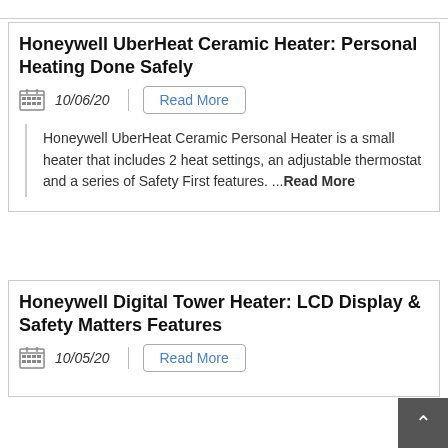Honeywell UberHeat Ceramic Heater: Personal Heating Done Safely
10/06/20
Honeywell UberHeat Ceramic Personal Heater is a small heater that includes 2 heat settings, an adjustable thermostat and a series of Safety First features. ...Read More
Honeywell Digital Tower Heater: LCD Display & Safety Matters Features
10/05/20